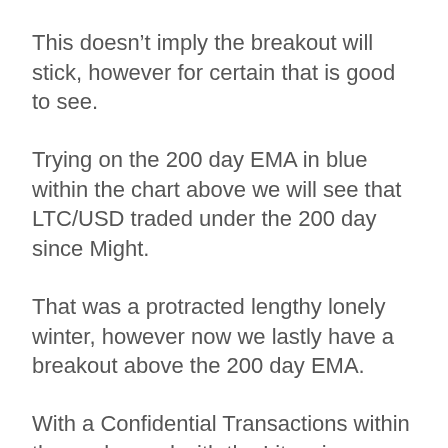This doesn't imply the breakout will stick, however for certain that is good to see.
Trying on the 200 day EMA in blue within the chart above we will see that LTC/USD traded under the 200 day since Might.
That was a protracted lengthy lonely winter, however now we lastly have a breakout above the 200 day EMA.
With a Confidential Transactions within the works, and with the Litecoin halvening arising, hope are excessive.